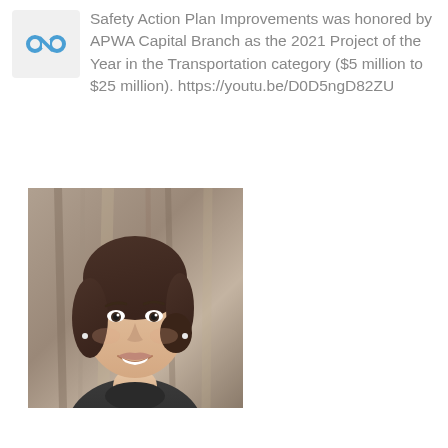[Figure (logo): Blue circular icon with a chain link or similar symbol]
Safety Action Plan Improvements was honored by APWA Capital Branch as the 2021 Project of the Year in the Transportation category ($5 million to $25 million). https://youtu.be/D0D5ngD82ZU
[Figure (photo): Portrait photo of a young woman with dark hair, smiling, wearing a dark turtleneck sweater, with a blurred tree trunk background]